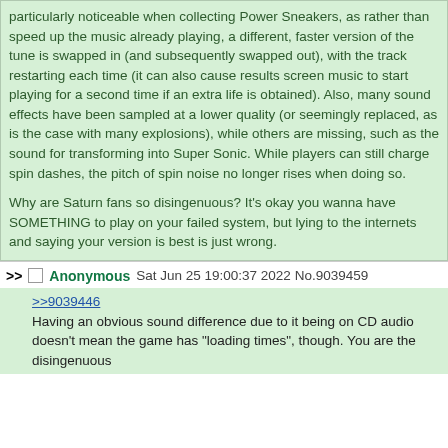particularly noticeable when collecting Power Sneakers, as rather than speed up the music already playing, a different, faster version of the tune is swapped in (and subsequently swapped out), with the track restarting each time (it can also cause results screen music to start playing for a second time if an extra life is obtained). Also, many sound effects have been sampled at a lower quality (or seemingly replaced, as is the case with many explosions), while others are missing, such as the sound for transforming into Super Sonic. While players can still charge spin dashes, the pitch of spin noise no longer rises when doing so.

Why are Saturn fans so disingenuous? It's okay you wanna have SOMETHING to play on your failed system, but lying to the internets and saying your version is best is just wrong.
>> Anonymous Sat Jun 25 19:00:37 2022 No.9039459
>>9039446
Having an obvious sound difference due to it being on CD audio doesn't mean the game has "loading times", though. You are the disingenuous